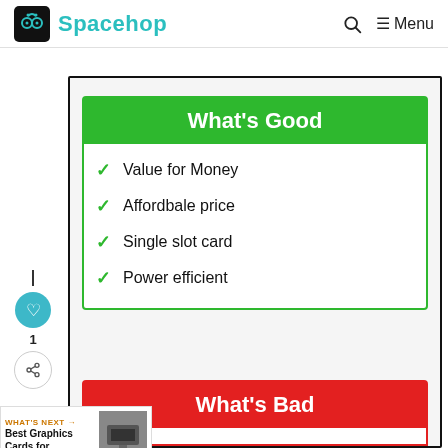Spacehop — Menu
What's Good
Value for Money
Affordbale price
Single slot card
Power efficient
What's Bad
Still expensive when compared
WHAT'S NEXT → Best Graphics Cards for...